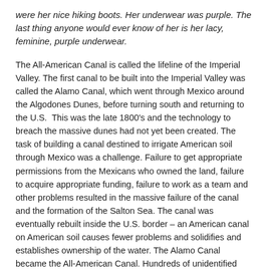were her nice hiking boots. Her underwear was purple. The last thing anyone would ever know of her is her lacy, feminine, purple underwear.
The All-American Canal is called the lifeline of the Imperial Valley. The first canal to be built into the Imperial Valley was called the Alamo Canal, which went through Mexico around the Algodones Dunes, before turning south and returning to the U.S.  This was the late 1800's and the technology to breach the massive dunes had not yet been created. The task of building a canal destined to irrigate American soil through Mexico was a challenge. Failure to get appropriate permissions from the Mexicans who owned the land, failure to acquire appropriate funding, failure to work as a team and other problems resulted in the massive failure of the canal and the formation of the Salton Sea. The canal was eventually rebuilt inside the U.S. border – an American canal on American soil causes fewer problems and solidifies and establishes ownership of the water. The Alamo Canal became the All-American Canal. Hundreds of unidentified persons have since drowned in it – have learned the power of this All-American Water.
Softness is the primary of her life. She had two children and...